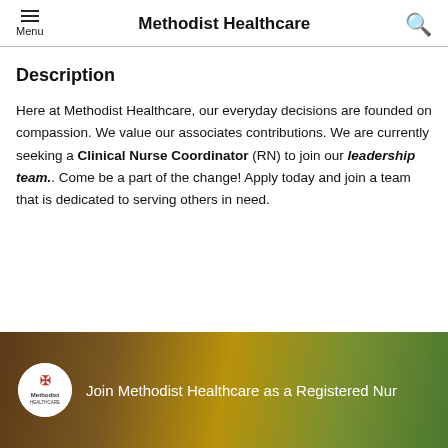Methodist Healthcare
Description
Here at Methodist Healthcare, our everyday decisions are founded on compassion. We value our associates contributions. We are currently seeking a Clinical Nurse Coordinator (RN) to join our leadership team.. Come be a part of the change! Apply today and join a team that is dedicated to serving others in need.
[Figure (screenshot): Video thumbnail showing Methodist Healthcare logo and text 'Join Methodist Healthcare as a Registered Nurse' with a person's face in the background]